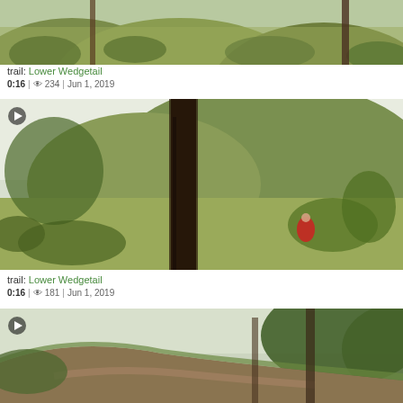[Figure (screenshot): Top portion of a trail video thumbnail showing a hillside with scrubby vegetation and sparse trees, cropped at top]
trail: Lower Wedgetail
0:16 | 234 | Jun 1, 2019
[Figure (screenshot): Video thumbnail showing a tall dark tree trunk in foreground, a hiker in red on a trail through grassy hillside with mountains behind, play button overlay]
trail: Lower Wedgetail
0:16 | 181 | Jun 1, 2019
[Figure (screenshot): Video thumbnail showing a narrow dirt hiking trail through bushland with gum trees and overcast sky, play button overlay]